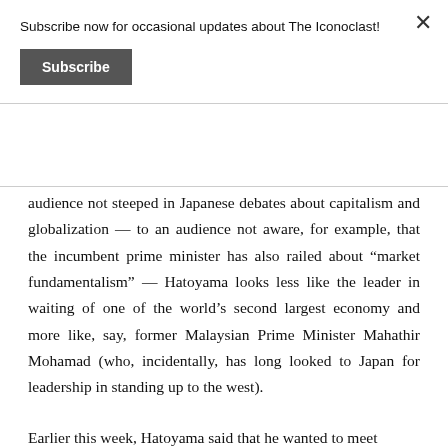Subscribe now for occasional updates about The Iconoclast!
Subscribe
audience not steeped in Japanese debates about capitalism and globalization — to an audience not aware, for example, that the incumbent prime minister has also railed about “market fundamentalism” — Hatoyama looks less like the leader in waiting of one of the world’s second largest economy and more like, say, former Malaysian Prime Minister Mahathir Mohamad (who, incidentally, has long looked to Japan for leadership in standing up to the west).
Earlier this week, Hatoyama said that he wanted to meet